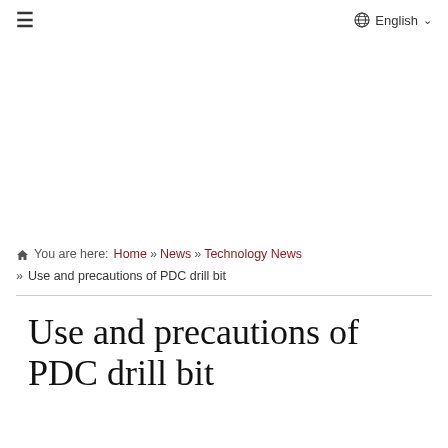≡   English ∨
[Figure (other): Advertisement / blank area]
🏠 You are here:  Home » News » Technology News » Use and precautions of PDC drill bit
Use and precautions of PDC drill bit